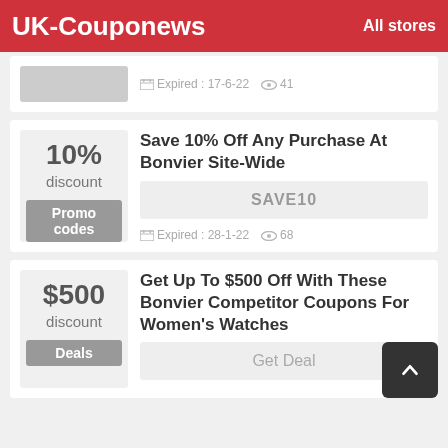UK-Couponews   All stores
Expired : 17-6-22   41
Save 10% Off Any Purchase At Bonvier Site-Wide
SAVE10
Expired : 28-1-22   68
Get Up To $500 Off With These Bonvier Competitor Coupons For Women's Watches
Get Deal